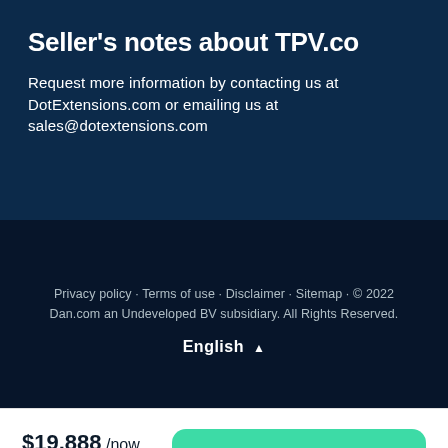Seller's notes about TPV.co
Request more information by contacting us at DotExtensions.com or emailing us at sales@dotextensions.com
Privacy policy · Terms of use · Disclaimer · Sitemap · © 2022 Dan.com an Undeveloped BV subsidiary. All Rights Reserved.
English ▲
$19,888 /now $1,658 /month